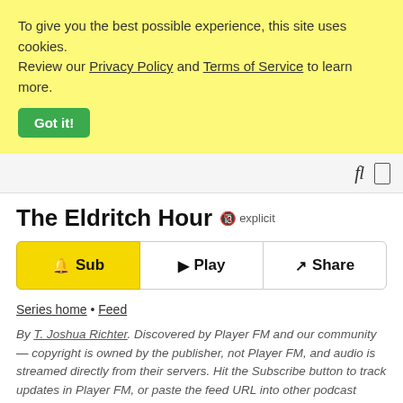To give you the best possible experience, this site uses cookies. Review our Privacy Policy and Terms of Service to learn more. Got it!
fl  [icon]
The Eldritch Hour 🔞 explicit
🔔 Sub   ▶ Play   ↗ Share
Series home • Feed
By T. Joshua Richter. Discovered by Player FM and our community — copyright is owned by the publisher, not Player FM, and audio is streamed directly from their servers. Hit the Subscribe button to track updates in Player FM, or paste the feed URL into other podcast apps.